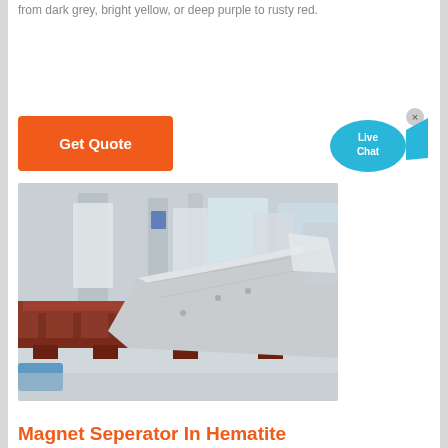from dark grey, bright yellow, or deep purple to rusty red.
[Figure (other): Orange 'Get Quote' button]
[Figure (other): Live Chat widget bubble in blue/cyan on right side]
[Figure (photo): Industrial magnetic separator machine in a factory setting, showing red steel frame base and silver/white metal chute component, with factory background]
Magnet Seperator In Hematite